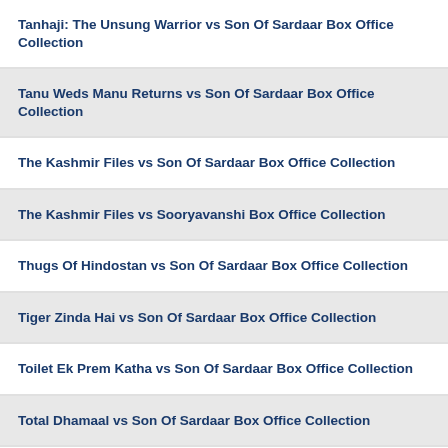Tanhaji: The Unsung Warrior vs Son Of Sardaar Box Office Collection
Tanu Weds Manu Returns vs Son Of Sardaar Box Office Collection
The Kashmir Files vs Son Of Sardaar Box Office Collection
The Kashmir Files vs Sooryavanshi Box Office Collection
Thugs Of Hindostan vs Son Of Sardaar Box Office Collection
Tiger Zinda Hai vs Son Of Sardaar Box Office Collection
Toilet Ek Prem Katha vs Son Of Sardaar Box Office Collection
Total Dhamaal vs Son Of Sardaar Box Office Collection
Tubelight vs Son Of Sardaar Box Office Collection
War vs Son Of Sardaar Box Office Collection